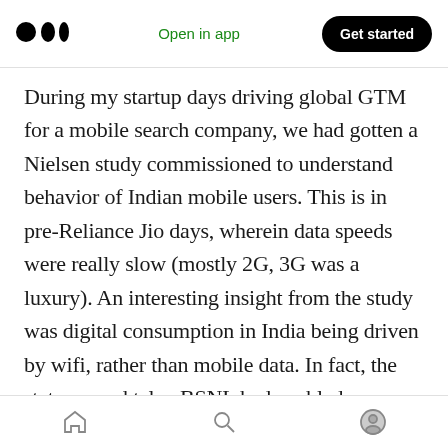Medium app header — Open in app | Get started
During my startup days driving global GTM for a mobile search company, we had gotten a Nielsen study commissioned to understand behavior of Indian mobile users. This is in pre-Reliance Jio days, wherein data speeds were really slow (mostly 2G, 3G was a luxury). An interesting insight from the study was digital consumption in India being driven by wifi, rather than mobile data. In fact, the state-owned telco BSNL had enabled pan-India wifi connectivity, which led to the Internet boom in the country starting 2010. Looks like that trend is still driving global
Home | Search | Profile